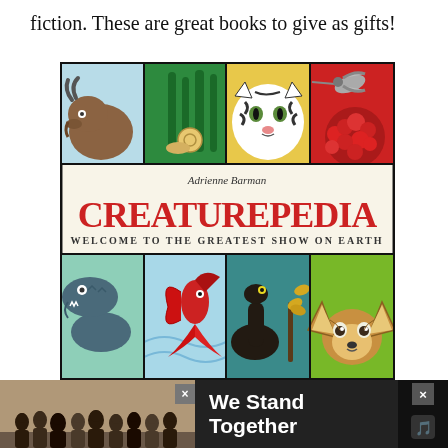fiction. These are great books to give as gifts!
[Figure (illustration): Book cover of 'Creaturepedia: Welcome to the Greatest Show on Earth' by Adrienne Barman. The cover features a grid of illustrated animals including a buffalo, plants with a snail, a white tiger, a hummingbird, a crocodile, a red betta fish, a dinosaur-like creature with plants, and a fennec fox. The title 'CREATUREPEDIA' is in large red letters, with subtitle 'WELCOME TO THE GREATEST SHOW ON EARTH' below.]
[Figure (photo): Advertisement banner at bottom showing people standing together with text 'We Stand Together' on dark background]